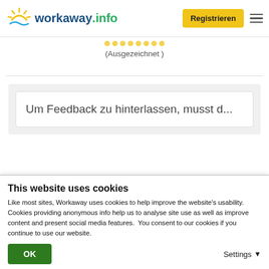[Figure (logo): Workaway.info logo with sun icon, yellow sun rays, blue and green text]
Registrieren
........ (Ausgezeichnet)
Um Feedback zu hinterlassen, musst d...
This website uses cookies
Like most sites, Workaway uses cookies to help improve the website's usability. Cookies providing anonymous info help us to analyse site use as well as improve content and present social media features.  You consent to our cookies if you continue to use our website.
OK
Settings